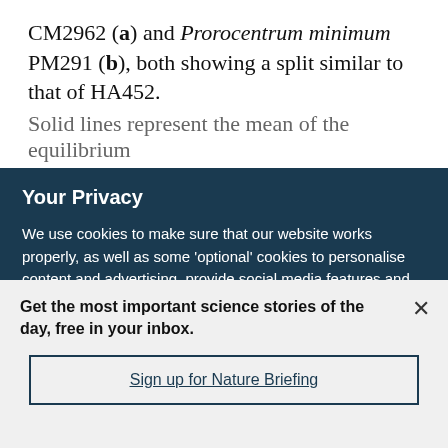CM2962 (a) and Prorocentrum minimum PM291 (b), both showing a split similar to that of HA452. Solid lines represent the mean of the equilibrium
Your Privacy
We use cookies to make sure that our website works properly, as well as some 'optional' cookies to personalise content and advertising, provide social media features and analyse how people use our site. By accepting some or all optional cookies you give consent to the processing of your personal data, including transfer to third parties, some in countries outside of the European Economic Area that do not offer the same data protection standards as the country where you live. You can decide which optional cookies to accept by clicking on 'Manage Settings', where you can
Get the most important science stories of the day, free in your inbox.
Sign up for Nature Briefing